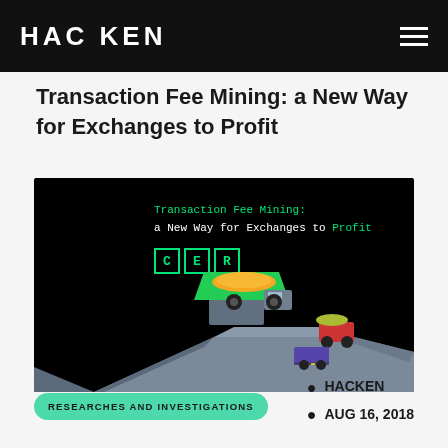HACKEN
Transaction Fee Mining: a New Way for Exchanges to Profit
[Figure (illustration): Dark background illustration showing animated mining trucks loaded with gold/ore on a rocky cliff edge, with 'Transaction Fee Mining: a New Way for Exchanges to Profit' text in green monospace font and CER logo boxes in the upper portion of the image.]
RESEARCHES AND INVESTIGATIONS
HACKEN
AUG 16, 2018